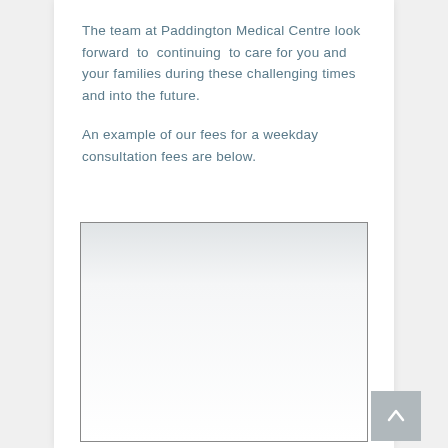The team at Paddington Medical Centre look forward to continuing to care for you and your families during these challenging times and into the future.
An example of our fees for a weekday consultation fees are below.
[Figure (other): A bordered rectangular box with a light grey gradient at the top fading to white, representing a table or image area for consultation fees. A grey scroll-to-top button with an upward arrow is positioned at the bottom-right corner outside the box.]